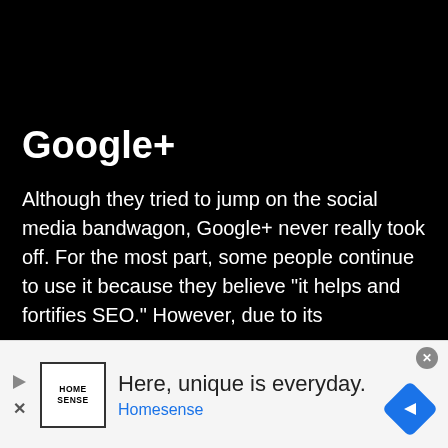Google+
Although they tried to jump on the social media bandwagon, Google+ never really took off. For the most part, some people continue to use it because they believe “it helps and fortifies SEO.” However, due to its
[Figure (other): Advertisement banner for Homesense with logo, tagline 'Here, unique is everyday.' and navigation arrow icon]